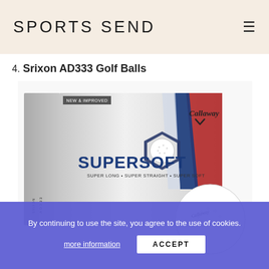SPORTS SEND
4. Srixon AD333 Golf Balls
[Figure (photo): Callaway Supersoft golf ball box with a golf ball in front. Box is white/silver with blue and red chevron design, labeled SUPERSOFT SUPER LONG • SUPER STRAIGHT • SUPER SOFT. Badge reads NEW & IMPROVED. Callaway logo and chevron symbol on box.]
By continuing to use the site, you agree to the use of cookies.
more information
ACCEPT